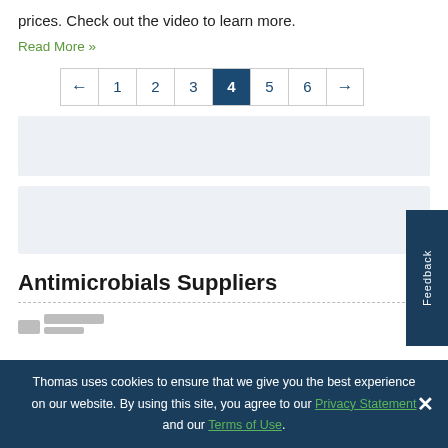prices. Check out the video to learn more.
Read More »
[Figure (other): Pagination control showing pages 1-6 with page 4 highlighted in dark blue, left and right arrow buttons]
[Figure (other): Gray advertisement placeholder block 1]
[Figure (other): Gray advertisement placeholder block 2]
Antimicrobials Suppliers
[Figure (logo): Partially visible company logo at bottom]
Thomas uses cookies to ensure that we give you the best experience on our website. By using this site, you agree to our Privacy Statement and our Terms of Use.